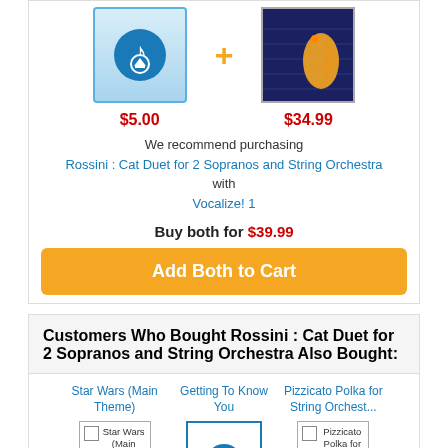$5.00
$34.99
We recommend purchasing Rossini : Cat Duet for 2 Sopranos and String Orchestra with Vocalize! 1
Buy both for $39.99
Add Both to Cart
Customers Who Bought Rossini : Cat Duet for 2 Sopranos and String Orchestra Also Bought:
Star Wars (Main Theme)
Getting To Know You
Pizzicato Polka for String Orchest...
Star Wars (Main Theme)
Pizzicato Polka for String